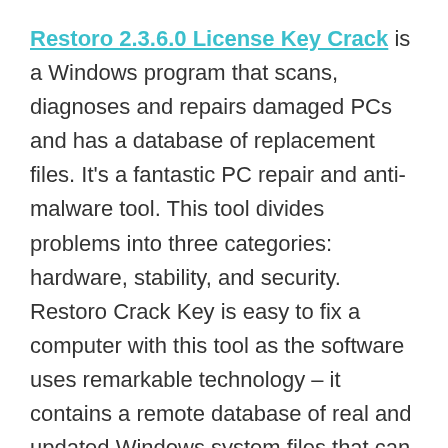Restoro 2.3.6.0 License Key Crack is a Windows program that scans, diagnoses and repairs damaged PCs and has a database of replacement files. It's a fantastic PC repair and anti-malware tool. This tool divides problems into three categories: hardware, stability, and security. Restoro Crack Key is easy to fix a computer with this tool as the software uses remarkable technology – it contains a remote database of real and updated Windows system files that can replace the faulty files on the scanned system.
When the market has thousands of products that promise to fix computer problems and remove malware, it can be difficult to choose the one that